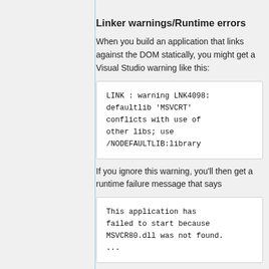Linker warnings/Runtime errors
When you build an application that links against the DOM statically, you might get a Visual Studio warning like this:
LINK : warning LNK4098: defaultlib 'MSVCRT' conflicts with use of other libs; use /NODEFAULTLIB:library
If you ignore this warning, you'll then get a runtime failure message that says
This application has failed to start because MSVCR80.dll was not found. ...